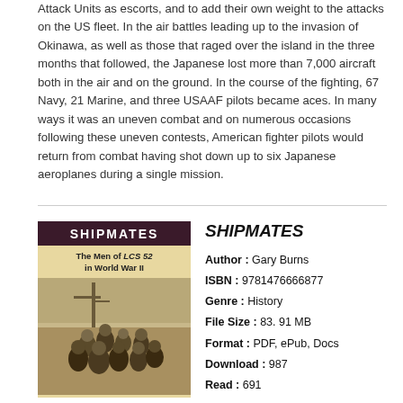Attack Units as escorts, and to add their own weight to the attacks on the US fleet. In the air battles leading up to the invasion of Okinawa, as well as those that raged over the island in the three months that followed, the Japanese lost more than 7,000 aircraft both in the air and on the ground. In the course of the fighting, 67 Navy, 21 Marine, and three USAAF pilots became aces. In many ways it was an uneven combat and on numerous occasions following these uneven contests, American fighter pilots would return from combat having shot down up to six Japanese aeroplanes during a single mission.
[Figure (illustration): Book cover of 'SHIPMATES: The Men of LCS 52 in World War II' showing a dark maroon header with title, subtitle text, and a sepia-toned photograph of sailors on a ship.]
SHIPMATES
Author : Gary Burns
ISBN : 9781476666877
Genre : History
File Size : 83. 91 MB
Format : PDF, ePub, Docs
Download : 987
Read : 691